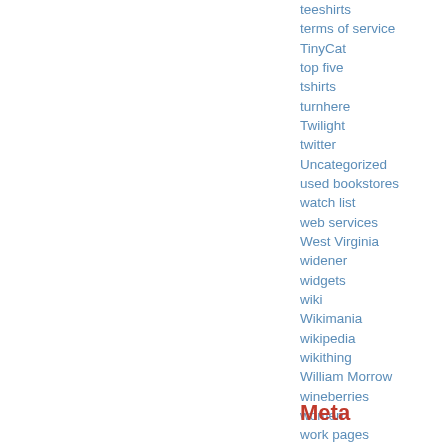teeshirts
terms of service
TinyCat
top five
tshirts
turnhere
Twilight
twitter
Uncategorized
used bookstores
watch list
web services
West Virginia
widener
widgets
wiki
Wikimania
wikipedia
wikithing
William Morrow
wineberries
women
work pages
works
wsj
yiddish language
z39.50
zombies
Meta